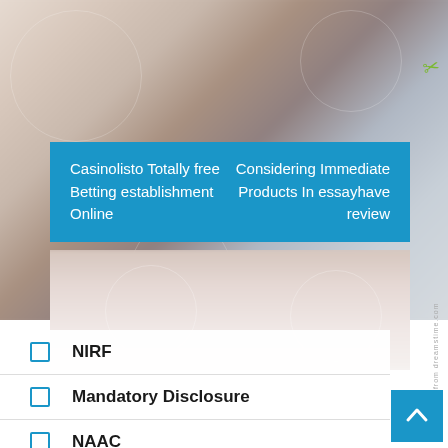[Figure (photo): Blurred medical/healthcare background photo showing hands with stethoscope, light blue and beige tones]
Casinolisto Totally free Betting establishment Online
Considering Immediate Products In essayhave review
NIRF
Mandatory Disclosure
NAAC